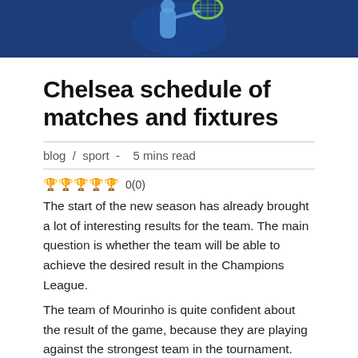[Figure (photo): Photo strip at top of page showing a tennis player in blue shirt holding a racket against a dark blue background]
Chelsea schedule of matches and fixtures
blog / sport - 5 mins read
🏆🏆🏆🏆🏆 0(0)
The start of the new season has already brought a lot of interesting results for the team. The main question is whether the team will be able to achieve the desired result in the Champions League.
The team of Mourinho is quite confident about the result of the game, because they are playing against the strongest team in the tournament. The Portuguese coach has already managed to get a lot out of the team, which is why he is considered as one of